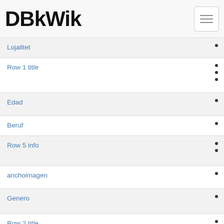DBkWik
Lojalltet
Row 1 title
Edad
Beruf
Row 5 info
anchoimagen
Genero
Row 2 title